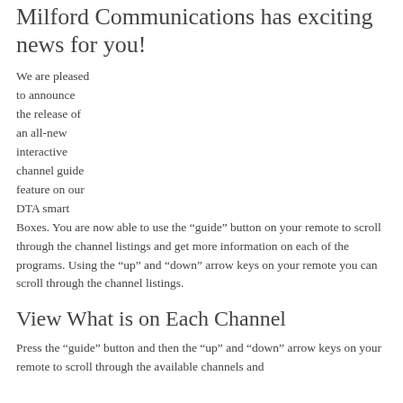Milford Communications has exciting news for you!
We are pleased to announce the release of an all-new interactive channel guide feature on our DTA smart Boxes. You are now able to use the “guide” button on your remote to scroll through the channel listings and get more information on each of the programs. Using the “up” and “down” arrow keys on your remote you can scroll through the channel listings.
View What is on Each Channel
Press the “guide” button and then the “up” and “down” arrow keys on your remote to scroll through the available channels and